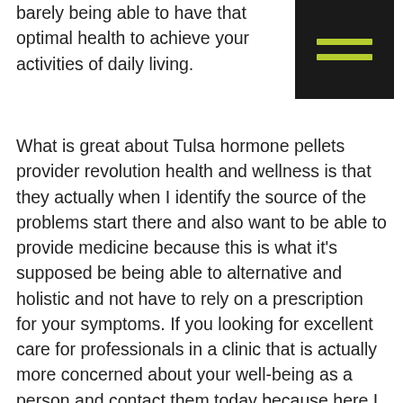barely being able to have that optimal health to achieve your activities of daily living.
[Figure (other): Dark square menu/hamburger icon with two olive/yellow-green horizontal lines on a black background, positioned in the top right corner]
What is great about Tulsa hormone pellets provider revolution health and wellness is that they actually when I identify the source of the problems start there and also want to be able to provide medicine because this is what it’s supposed be being able to alternative and holistic and not have to rely on a prescription for your symptoms. If you looking for excellent care for professionals in a clinic that is actually more concerned about your well-being as a person and contact them today because here I revolution health and wellness you would a will not makes they will always make sure that you are satisfied with the progress and also making strides in your health.
The labs that revolution health and wellness do are very informative in the office is very fairly staffed and they will always ensure that they would be concerned and